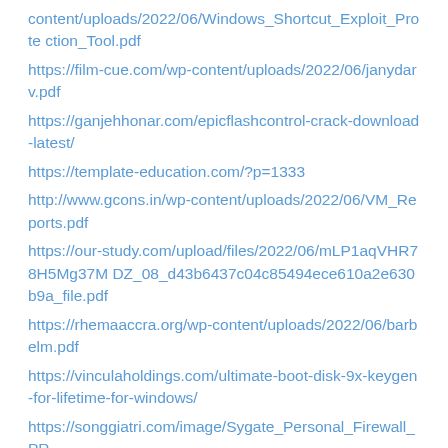content/uploads/2022/06/Windows_Shortcut_Exploit_Protection_Tool.pdf
https://film-cue.com/wp-content/uploads/2022/06/janydarv.pdf
https://ganjehhonar.com/epicflashcontrol-crack-download-latest/
https://template-education.com/?p=1333
http://www.gcons.in/wp-content/uploads/2022/06/VM_Reports.pdf
https://our-study.com/upload/files/2022/06/mLP1aqVHR78H5Mg37MDZ_08_d43b6437c04c85494ece610a2e630b9a_file.pdf
https://rhemaaccra.org/wp-content/uploads/2022/06/barbelm.pdf
https://vinculaholdings.com/ultimate-boot-disk-9x-keygen-for-lifetime-for-windows/
https://songgiatri.com/image/Sygate_Personal_Firewall_PR